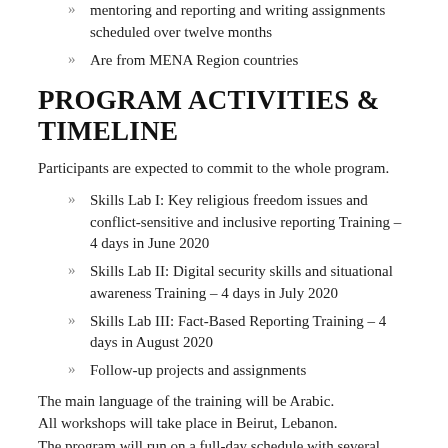mentoring and reporting and writing assignments scheduled over twelve months
Are from MENA Region countries
PROGRAM ACTIVITIES & TIMELINE
Participants are expected to commit to the whole program.
Skills Lab I: Key religious freedom issues and conflict-sensitive and inclusive reporting Training – 4 days in June 2020
Skills Lab II: Digital security skills and situational awareness Training – 4 days in July 2020
Skills Lab III: Fact-Based Reporting Training – 4 days in August 2020
Follow-up projects and assignments
The main language of the training will be Arabic.
All workshops will take place in Beirut, Lebanon.
The program will run on a full-day schedule with several evening activities. Selected participants will have to commit to